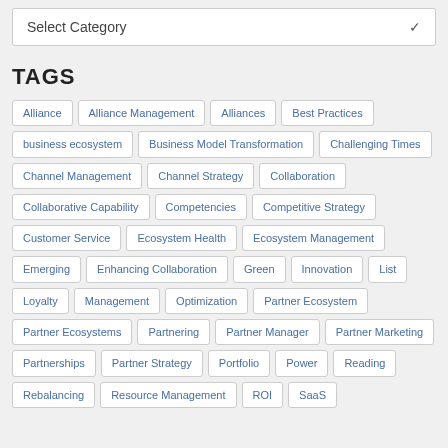Select Category
TAGS
Alliance
Alliance Management
Alliances
Best Practices
business ecosystem
Business Model Transformation
Challenging Times
Channel Management
Channel Strategy
Collaboration
Collaborative Capability
Competencies
Competitive Strategy
Customer Service
Ecosystem Health
Ecosystem Management
Emerging
Enhancing Collaboration
Green
Innovation
List
Loyalty
Management
Optimization
Partner Ecosystem
Partner Ecosystems
Partnering
Partner Manager
Partner Marketing
Partnerships
Partner Strategy
Portfolio
Power
Reading
Rebalancing
Resource Management
ROI
SaaS